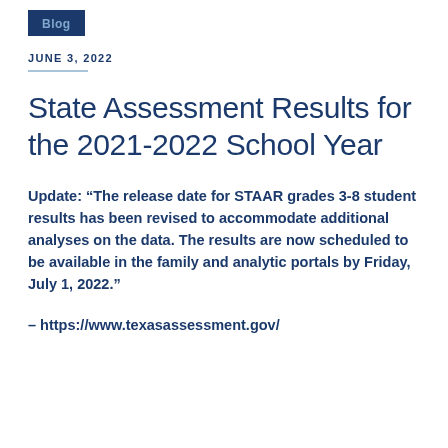Blog
JUNE 3, 2022
State Assessment Results for the 2021-2022 School Year
Update: “The release date for STAAR grades 3-8 student results has been revised to accommodate additional analyses on the data. The results are now scheduled to be available in the family and analytic portals by Friday, July 1, 2022.”
– https://www.texasassessment.gov/